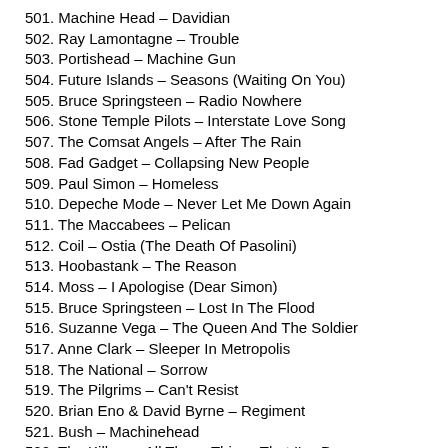501. Machine Head – Davidian
502. Ray Lamontagne – Trouble
503. Portishead – Machine Gun
504. Future Islands – Seasons (Waiting On You)
505. Bruce Springsteen – Radio Nowhere
506. Stone Temple Pilots – Interstate Love Song
507. The Comsat Angels – After The Rain
508. Fad Gadget – Collapsing New People
509. Paul Simon – Homeless
510. Depeche Mode – Never Let Me Down Again
511. The Maccabees – Pelican
512. Coil – Ostia (The Death Of Pasolini)
513. Hoobastank – The Reason
514. Moss – I Apologise (Dear Simon)
515. Bruce Springsteen – Lost In The Flood
516. Suzanne Vega – The Queen And The Soldier
517. Anne Clark – Sleeper In Metropolis
518. The National – Sorrow
519. The Pilgrims – Can't Resist
520. Brian Eno & David Byrne – Regiment
521. Bush – Machinehead
522. The Killers – All These Things That I've D…